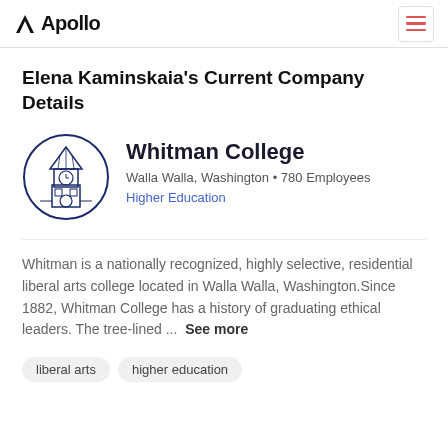Apollo
Elena Kaminskaia's Current Company Details
[Figure (logo): Whitman College circular logo featuring a clock tower illustration in dark blue ink]
Whitman College
Walla Walla, Washington • 780 Employees
Higher Education
Whitman is a nationally recognized, highly selective, residential liberal arts college located in Walla Walla, Washington.Since 1882, Whitman College has a history of graduating ethical leaders. The tree-lined ... See more
liberal arts
higher education